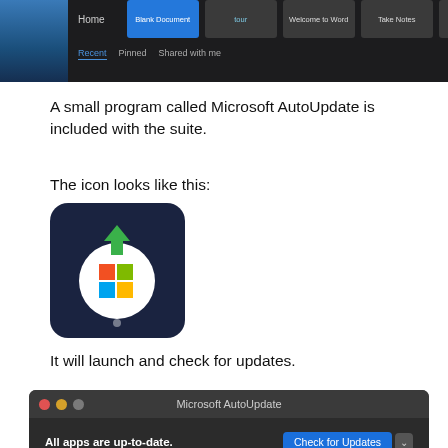[Figure (screenshot): Screenshot of Microsoft Word start screen on macOS dark mode, showing template options including Blank Document, Welcome to Word, Take Notes, Calendar, with Recent/Pinned/Shared with me tabs at bottom.]
A small program called Microsoft AutoUpdate is included with the suite.
The icon looks like this:
[Figure (screenshot): Microsoft AutoUpdate app icon: dark navy background with white circle containing colorful Microsoft Windows logo and a green download arrow above it.]
It will launch and check for updates.
[Figure (screenshot): Microsoft AutoUpdate dialog window in macOS dark mode showing: All apps are up-to-date. Check for Updates button, and Automatically keep Microsoft Apps up to date checkbox with Advanced... button.]
You can select the box beside Automatically keep Microsoft Apps up to date to have the machine check automatically in the future.